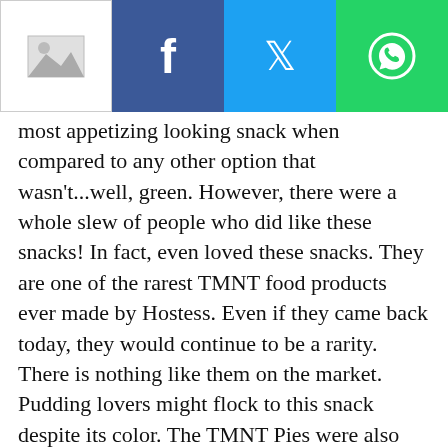NEXT →
most appetizing looking snack when compared to any other option that wasn't...well, green. However, there were a whole slew of people who did like these snacks! In fact, even loved these snacks. They are one of the rarest TMNT food products ever made by Hostess. Even if they came back today, they would continue to be a rarity. There is nothing like them on the market. Pudding lovers might flock to this snack despite its color. The TMNT Pies were also cool because they could easily be eaten on the go. So, again, another reason pudding lovers would love it. There would be no need to worry about a spoon. The Hostess Teenage Mutant Ninja Turtles Pies certainly were created something for fans to keep talking about.